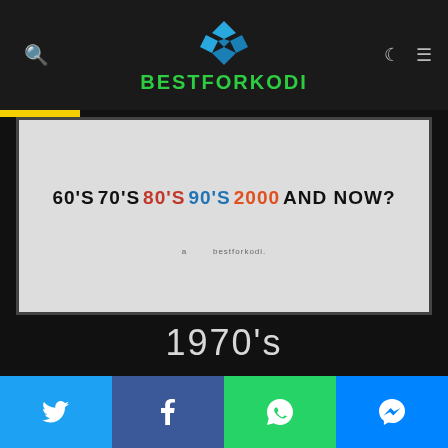BESTFORKODI
[Figure (screenshot): Thumbnail image showing decades text: 60'S 70'S 80'S 90'S 2000 AND NOW?]
1970's
[Figure (infographic): Social share bar with Twitter, Facebook, WhatsApp, and Messenger buttons]